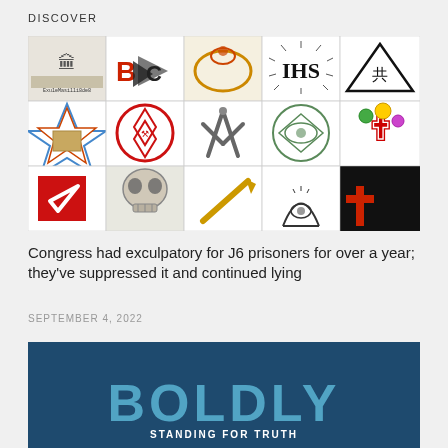DISCOVER
[Figure (photo): A collage of various symbols including Masonic, Illuminati, occult, religious and secret society symbols arranged in a 3-row grid on white background.]
Congress had exculpatory for J6 prisoners for over a year; they've suppressed it and continued lying
SEPTEMBER 4, 2022
[Figure (photo): Dark blue banner with large light blue bold text reading 'BOLDLY' and white subtitle text 'STANDING FOR TRUTH']